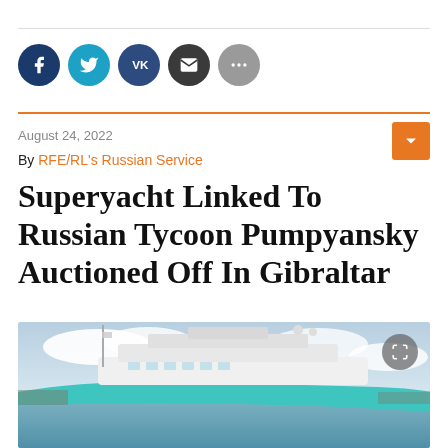[Figure (other): Social media sharing icons: Facebook, Twitter, VK, Email, More]
August 24, 2022
By RFE/RL's Russian Service
Superyacht Linked To Russian Tycoon Pumpyansky Auctioned Off In Gibraltar
[Figure (photo): Photo of a large teal/turquoise superyacht docked in a harbor with a cloudy sky background]